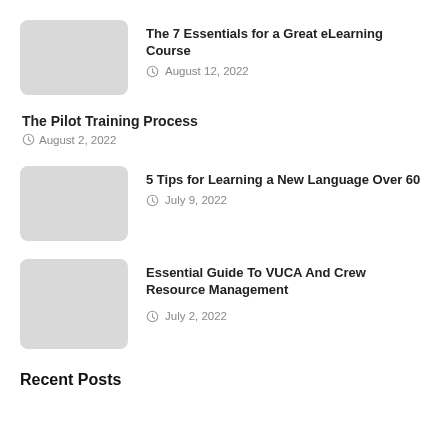The 7 Essentials for a Great eLearning Course — August 12, 2022
The Pilot Training Process — August 2, 2022
5 Tips for Learning a New Language Over 60 — July 9, 2022
Essential Guide To VUCA And Crew Resource Management — July 2, 2022
Recent Posts